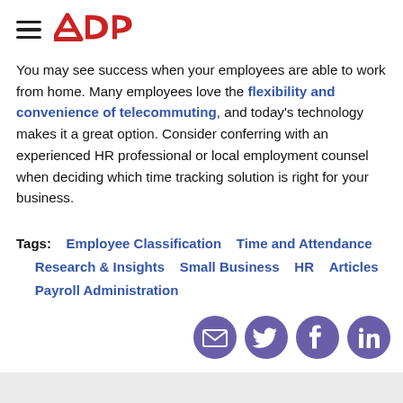ADP
You may see success when your employees are able to work from home. Many employees love the flexibility and convenience of telecommuting, and today’s technology makes it a great option. Consider conferring with an experienced HR professional or local employment counsel when deciding which time tracking solution is right for your business.
Tags: Employee Classification   Time and Attendance   Research & Insights   Small Business   HR   Articles   Payroll Administration
[Figure (infographic): Four purple circular social media icons: email, Twitter, Facebook, LinkedIn]